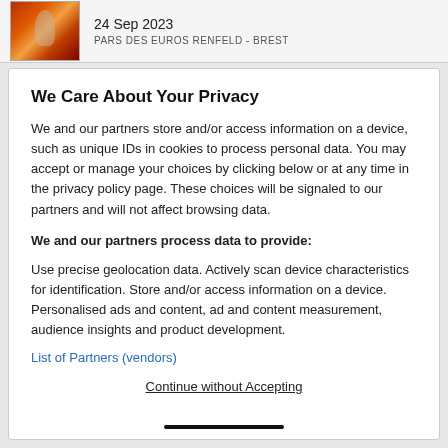24 Sep 2023
PARS DES EUROS RENFELD - BREST
We Care About Your Privacy
We and our partners store and/or access information on a device, such as unique IDs in cookies to process personal data. You may accept or manage your choices by clicking below or at any time in the privacy policy page. These choices will be signaled to our partners and will not affect browsing data.
We and our partners process data to provide:
Use precise geolocation data. Actively scan device characteristics for identification. Store and/or access information on a device. Personalised ads and content, ad and content measurement, audience insights and product development.
List of Partners (vendors)
Continue without Accepting